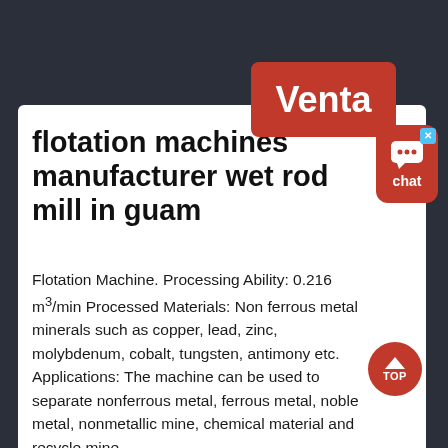[Figure (logo): Red 'Venta' badge in upper right corner]
[Figure (illustration): Red chat bubble UI widget with X close button and ellipsis icon, labeled 'chat']
flotation machines manufacturer wet rod mill in guam
Flotation Machine. Processing Ability: 0.216 m³/min Processed Materials: Non ferrous metal minerals such as copper, lead, zinc, molybdenum, cobalt, tungsten, antimony etc. Applications: The machine can be used to separate nonferrous metal, ferrous metal, noble metal, nonmetallic mine, chemical material and recycle mine.
[Figure (illustration): Red circular TOP button with upward arrow]